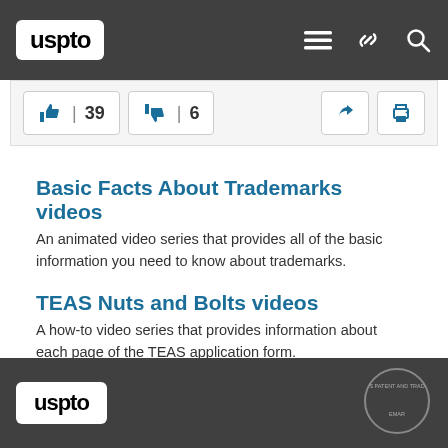USPTO header navigation bar
[Figure (screenshot): Vote buttons showing thumbs up with count 39 and thumbs down with count 6, plus share and print icons]
Basic Facts About Trademarks videos
An animated video series that provides all of the basic information you need to know about trademarks.
TEAS Nuts and Bolts videos
A how-to video series that provides information about each page of the TEAS application form.
USPTO footer with logo and seal